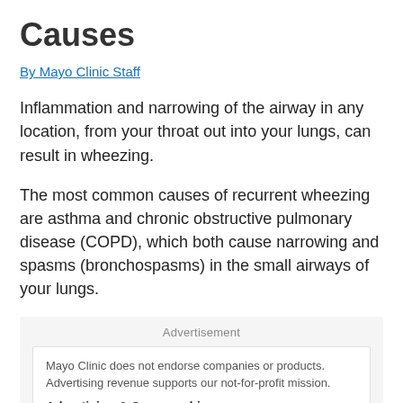Causes
By Mayo Clinic Staff
Inflammation and narrowing of the airway in any location, from your throat out into your lungs, can result in wheezing.
The most common causes of recurrent wheezing are asthma and chronic obstructive pulmonary disease (COPD), which both cause narrowing and spasms (bronchospasms) in the small airways of your lungs.
Advertisement
Mayo Clinic does not endorse companies or products. Advertising revenue supports our not-for-profit mission.
Advertising & Sponsorship
Policy | Opportunities | Ad Choices